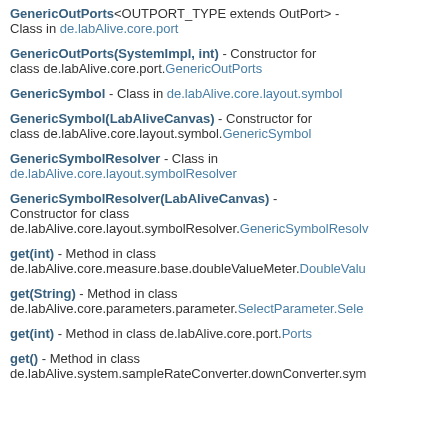GenericOutPorts<OUTPORT_TYPE extends OutPort> - Class in de.labAlive.core.port
GenericOutPorts(SystemImpl, int) - Constructor for class de.labAlive.core.port.GenericOutPorts
GenericSymbol - Class in de.labAlive.core.layout.symbol
GenericSymbol(LabAliveCanvas) - Constructor for class de.labAlive.core.layout.symbol.GenericSymbol
GenericSymbolResolver - Class in de.labAlive.core.layout.symbolResolver
GenericSymbolResolver(LabAliveCanvas) - Constructor for class de.labAlive.core.layout.symbolResolver.GenericSymbolResolver
get(int) - Method in class de.labAlive.core.measure.base.doubleValueMeter.DoubleValueMeter
get(String) - Method in class de.labAlive.core.parameters.parameter.SelectParameter.SelectParameter
get(int) - Method in class de.labAlive.core.port.Ports
get() - Method in class de.labAlive.system.sampleRateConverter.downConverter.sym